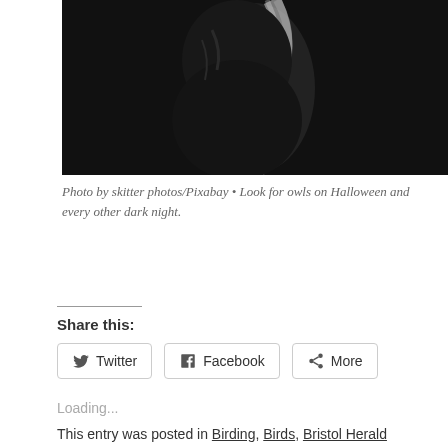[Figure (photo): Black and white close-up photo of an owl against a dark background, with light reflecting off its feathers]
Photo by skitter photos/Pixabay • Look for owls on Halloween and every other dark night.
Share this:
Twitter  Facebook  More
Loading...
This entry was posted in Birding, Birds, Bristol Herald Courier, Bryan Stevens Feathered Friends, Elizabethton Star, Erwin